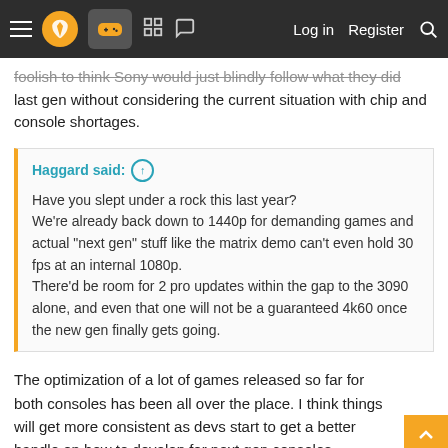Navigation bar with menu, logo, gamepad icon, grid icon, chat icon, Log in, Register, Search
foolish to think Sony would just blindly follow what they did last gen without considering the current situation with chip and console shortages.
Haggard said: ↑
Have you slept under a rock this last year?
We're already back down to 1440p for demanding games and actual "next gen" stuff like the matrix demo can't even hold 30 fps at an internal 1080p.
There'd be room for 2 pro updates within the gap to the 3090 alone, and even that one will not be a guaranteed 4k60 once the new gen finally gets going.
The optimization of a lot of games released so far for both consoles has been all over the place. I think things will get more consistent as devs start to get a better handle on how to develop for next gen consoles. Especially when they stop focusing resources on the PS4/Xbox one games.
Last edited: Dec 14, 2021